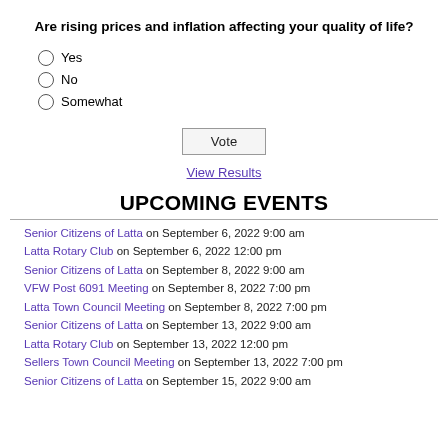Are rising prices and inflation affecting your quality of life?
Yes
No
Somewhat
Vote
View Results
UPCOMING EVENTS
Senior Citizens of Latta on September 6, 2022 9:00 am
Latta Rotary Club on September 6, 2022 12:00 pm
Senior Citizens of Latta on September 8, 2022 9:00 am
VFW Post 6091 Meeting on September 8, 2022 7:00 pm
Latta Town Council Meeting on September 8, 2022 7:00 pm
Senior Citizens of Latta on September 13, 2022 9:00 am
Latta Rotary Club on September 13, 2022 12:00 pm
Sellers Town Council Meeting on September 13, 2022 7:00 pm
Senior Citizens of Latta on September 15, 2022 9:00 am